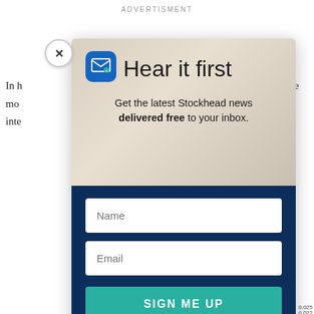ADVERTISMENT
In h... the mo... inte...
[Figure (screenshot): Stockhead newsletter signup modal popup with close button, email icon, headline 'Hear it first', subtitle 'Get the latest Stockhead news delivered free to your inbox.', Name and Email input fields, and a teal SIGN ME UP button, overlaid on a financial news article page showing partial text and a line chart.]
"[Th... nd pub... r to